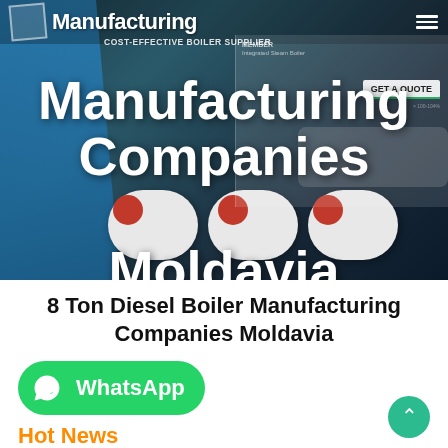[Figure (screenshot): Hero banner screenshot of a boiler manufacturing company website showing industrial boilers, navigation bar with logo and 'Manufacturing' text, 'COST-EFFECTIVE BOILER SUPPLIER' subtitle, and overlaid large white text reading 'Manufacturing Companies Moldavia']
8 Ton Diesel Boiler Manufacturing Companies Moldavia
[Figure (logo): WhatsApp button — green rounded rectangle with WhatsApp phone icon and 'WhatsApp' text in white]
Hot News